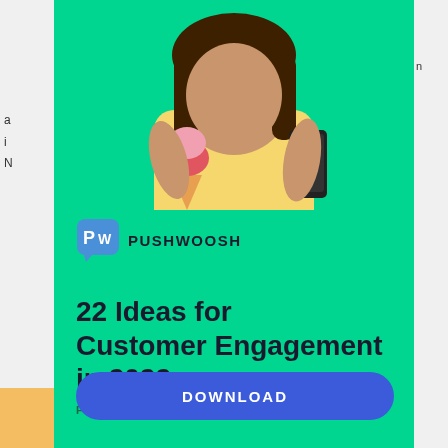[Figure (photo): Woman in yellow hoodie holding ice cream cone and smartphone against green background — promotional image for Pushwoosh customer engagement guide]
[Figure (logo): Pushwoosh logo — blue speech bubble icon with 'P' and 'W' initials, beside the text PUSHWOOSH]
22 Ideas for Customer Engagement in 2022
FREE POCKET GUIDE
DOWNLOAD